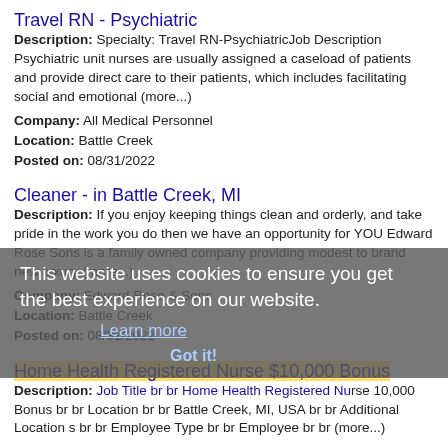Travel RN - Psychiatric
Description: Specialty: Travel RN-PsychiatricJob Description Psychiatric unit nurses are usually assigned a caseload of patients and provide direct care to their patients, which includes facilitating social and emotional (more...)
Company: All Medical Personnel
Location: Battle Creek
Posted on: 08/31/2022
Cleaner - in Battle Creek, MI
Description: If you enjoy keeping things clean and orderly, and take pride in the work you do then we have an opportunity for YOU Edward Rose Sons is a family owned company providing modest to brand new luxury (more...)
Company: Edward Rose & Sons
Location: Battle Creek
Posted on: 08/31/2022
Home Health Registered Nurse $10,000 Bonus
Description: Job Title br br Home Health Registered Nurse 10,000 Bonus br br Location br br Battle Creek, MI, USA br br Additional Location s br br Employee Type br br Employee br br (more...)